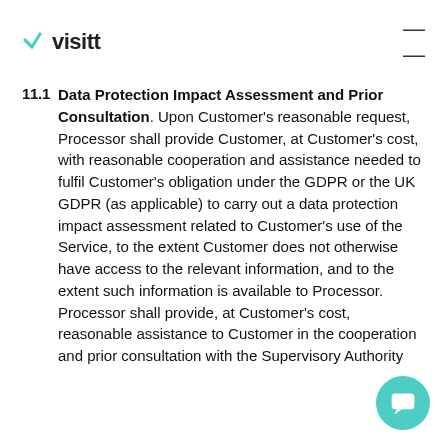visitt
11.1 Data Protection Impact Assessment and Prior Consultation. Upon Customer's reasonable request, Processor shall provide Customer, at Customer's cost, with reasonable cooperation and assistance needed to fulfil Customer's obligation under the GDPR or the UK GDPR (as applicable) to carry out a data protection impact assessment related to Customer's use of the Service, to the extent Customer does not otherwise have access to the relevant information, and to the extent such information is available to Processor. Processor shall provide, at Customer's cost, reasonable assistance to Customer in the cooperation and prior consultation with the Supervisory Authority